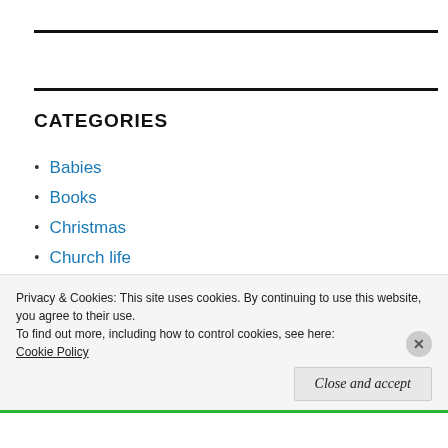CATEGORIES
Babies
Books
Christmas
Church life
Covid-19
Privacy & Cookies: This site uses cookies. By continuing to use this website, you agree to their use.
To find out more, including how to control cookies, see here:
Cookie Policy
Close and accept